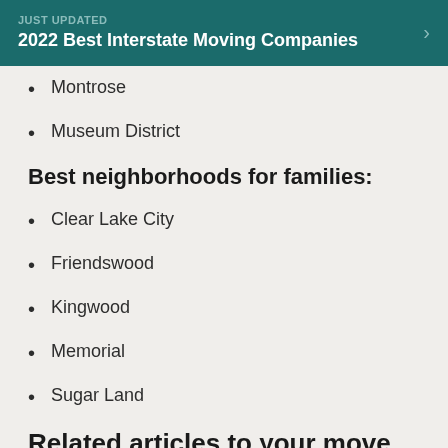JUST UPDATED
2022 Best Interstate Moving Companies
Montrose
Museum District
Best neighborhoods for families:
Clear Lake City
Friendswood
Kingwood
Memorial
Sugar Land
Related articles to your move